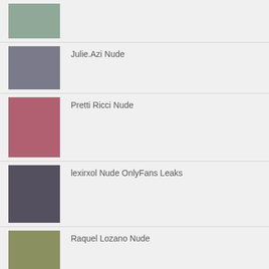[Figure (photo): Thumbnail image of a person in teal leggings]
Julie.Azi Nude
[Figure (photo): Thumbnail mirror selfie photo]
Pretti Ricci Nude
[Figure (photo): Thumbnail of two people in pink lighting]
lexirxol Nude OnlyFans Leaks
[Figure (photo): Thumbnail with red lingerie and price list overlay]
Raquel Lozano Nude
[Figure (photo): Thumbnail of a person in black dress outdoors]